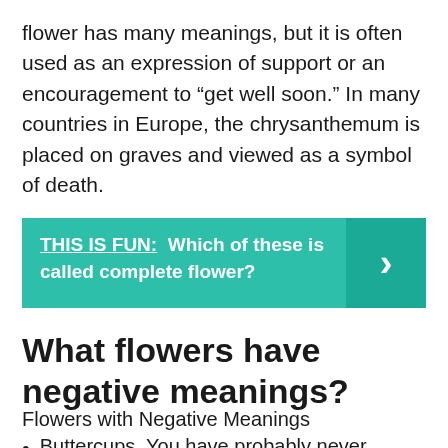flower has many meanings, but it is often used as an expression of support or an encouragement to “get well soon.” In many countries in Europe, the chrysanthemum is placed on graves and viewed as a symbol of death.
[Figure (infographic): Teal banner with text 'THIS IS FUN: Which of these is called complete flower?' and a right-arrow button on the right side]
What flowers have negative meanings?
Flowers with Negative Meanings
Buttercups. You have probably never